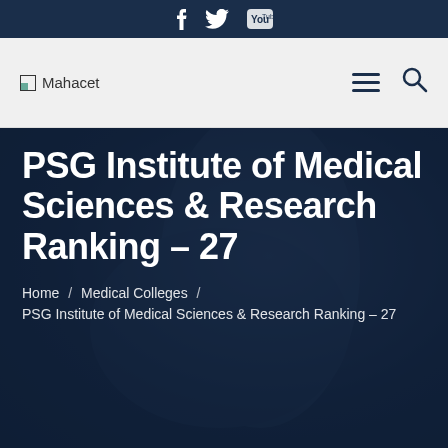Social icons: Facebook, Twitter, YouTube
[Figure (logo): Mahacet logo with nav icons (hamburger menu and search)]
PSG Institute of Medical Sciences & Research Ranking – 27
Home / Medical Colleges / PSG Institute of Medical Sciences & Research Ranking – 27